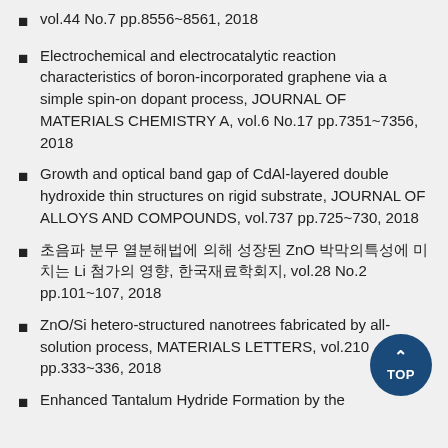vol.44 No.7 pp.8556~8561, 2018
Electrochemical and electrocatalytic reaction characteristics of boron-incorporated graphene via a simple spin-on dopant process, JOURNAL OF MATERIALS CHEMISTRY A, vol.6 No.17 pp.7351~7356, 2018
Growth and optical band gap of CdAl-layered double hydroxide thin structures on rigid substrate, JOURNAL OF ALLOYS AND COMPOUNDS, vol.737 pp.725~730, 2018
초음파 분무 열분해법에 의해 성장된 ZnO 박막의특성에 미치는 Li 첨가의 영향, 한국재료학회지, vol.28 No.2 pp.101~107, 2018
ZnO/Si hetero-structured nanotrees fabricated by all-solution process, MATERIALS LETTERS, vol.210 pp.333~336, 2018
Enhanced Tantalum Hydride Formation by the